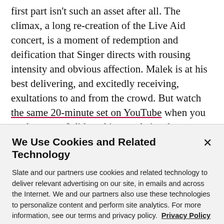first part isn't such an asset after all. The climax, a long re-creation of the Live Aid concert, is a moment of redemption and deification that Singer directs with rousing intensity and obvious affection. Malek is at his best delivering, and excitedly receiving, exultations to and from the crowd. But watch the same 20-minute set on YouTube when you get home, as I did, and it reveals just how ersatz and perhaps pointless Bohemian
We Use Cookies and Related Technology
Slate and our partners use cookies and related technology to deliver relevant advertising on our site, in emails and across the Internet. We and our partners also use these technologies to personalize content and perform site analytics. For more information, see our terms and privacy policy.  Privacy Policy